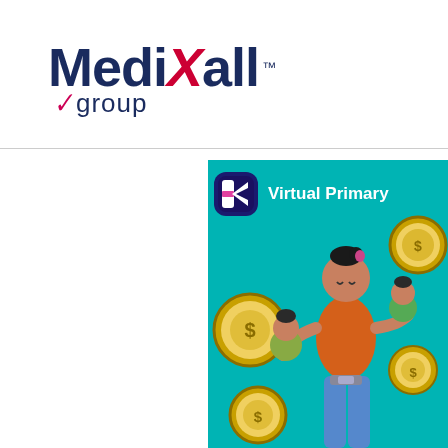[Figure (logo): MediXall Group logo with red X, dark navy Medi and all text, checkmark and group subtext]
[Figure (illustration): Virtual Primary Care illustration on teal background with gold coins featuring dollar signs, a woman holding two children, and a K-logo bubble in the upper corner with text 'Virtual Primary' visible]